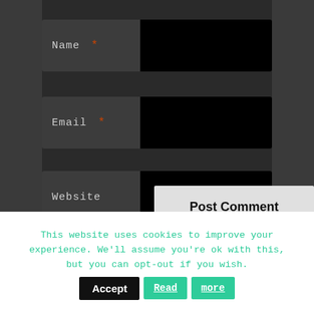[Figure (screenshot): Dark-themed web form with three fields: Name (required), Email (required), and Website. Each field has a label area on the left and a black input area on the right. A 'Post Comment' button is partially visible at the bottom right of the form area.]
This website uses cookies to improve your experience. We'll assume you're ok with this, but you can opt-out if you wish.
Accept
Read more
more